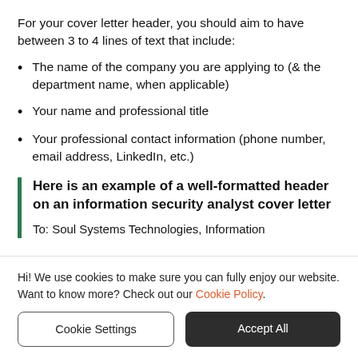For your cover letter header, you should aim to have between 3 to 4 lines of text that include:
The name of the company you are applying to (& the department name, when applicable)
Your name and professional title
Your professional contact information (phone number, email address, LinkedIn, etc.)
Here is an example of a well-formatted header on an information security analyst cover letter
To: Soul Systems Technologies, Information
Hi! We use cookies to make sure you can fully enjoy our website. Want to know more? Check out our Cookie Policy.
Cookie Settings | Accept All